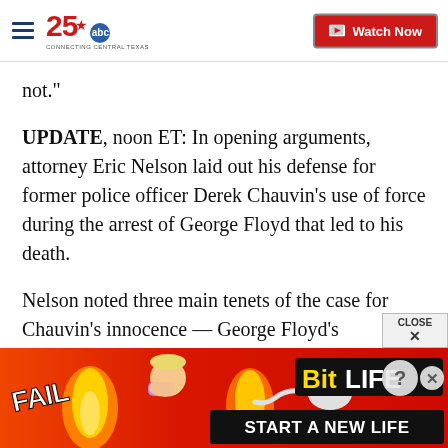25 ABC Connecting Central Texas — Watch Now
not."
UPDATE, noon ET: In opening arguments, attorney Eric Nelson laid out his defense for former police officer Derek Chauvin's use of force during the arrest of George Floyd that led to his death.
Nelson noted three main tenets of the case for Chauvin's innocence — George Floyd's interaction at a convenience store prior to his arrest, the actions during his arrest that warranted the use of force, and the findings of local coroners.
[Figure (infographic): BitLife advertisement banner: orange-red background with cartoon character face-palming, flame graphic, sperm cell logo, text reading 'FAIL', 'BitLife', 'START A NEW LIFE'. Close button in upper right area.]